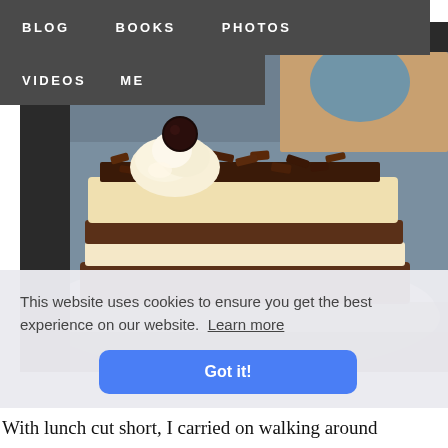BLOG   BOOKS   PHOTOS
VIDEOS   ME
[Figure (photo): A slice of layered chocolate cake with cream filling, chocolate shavings on top, and a dark cherry, served on a white plate in a cafe setting.]
This website uses cookies to ensure you get the best experience on our website.  Learn more
Got it!
With lunch cut short, I carried on walking around